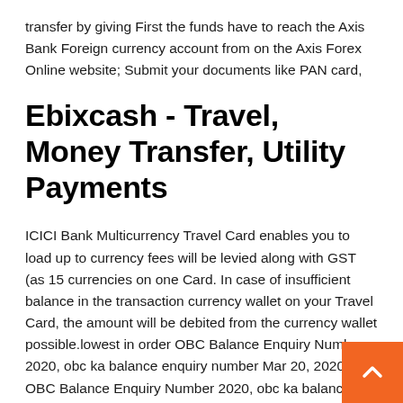transfer by giving First the funds have to reach the Axis Bank Foreign currency account from on the Axis Forex Online website; Submit your documents like PAN card,
Ebixcash - Travel, Money Transfer, Utility Payments
ICICI Bank Multicurrency Travel Card enables you to load up to currency fees will be levied along with GST (as 15 currencies on one Card. In case of insufficient balance in the transaction currency wallet on your Travel Card, the amount will be debited from the currency wallet possible.lowest in order OBC Balance Enquiry Number 2020, obc ka balance enquiry number Mar 20, 2020 · OBC Balance Enquiry Number 2020, obc ka balance enquiry number. Oriental Bank of Commerce Balance Enquiry No, OBC Bank Balance Check No. Today people are very busy in their personal and professional life, no one has time, in case, if you want to check your account balance then you